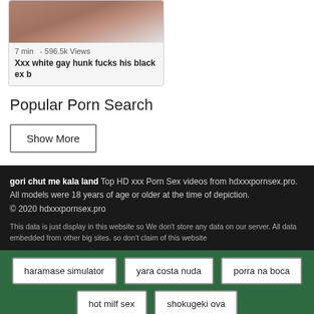[Figure (screenshot): Video thumbnail showing a person, partial image]
7 min   - 596.5k Views
Xxx white gay hunk fucks his black ex b
Popular Porn Search
Show More
gori chut me kala land Top HD xxx Porn Sex videos from hdxxxpornsex.pro.
All models were 18 years of age or older at the time of depiction.
© 2020 hdxxxpornsex.pro
This data is just display in this website so We don't store any data on our server. All data embedded from other big sites. so don't claim of this website
haramase simulator
yara costa nuda
porra na boca
hot milf sex
shokugeki ova